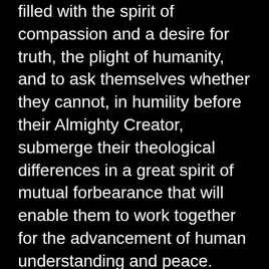filled with the spirit of compassion and a desire for truth, the plight of humanity, and to ask themselves whether they cannot, in humility before their Almighty Creator, submerge their theological differences in a great spirit of mutual forbearance that will enable them to work together for the advancement of human understanding and peace.
The emancipation of women, the achievement of full equality between the sexes, is one of the most important, though less acknowledged prerequisites of peace. The denial of such equality perpetrates an injustice against one half of the world's population and promotes in men harmful attitudes and habits that are carried from the family to the workplace, to political life, and ultimately to international relations. There